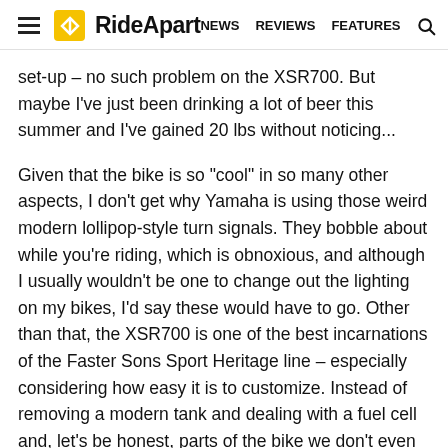≡ RideApart  NEWS  REVIEWS  FEATURES  🔍
set-up – no such problem on the XSR700. But maybe I've just been drinking a lot of beer this summer and I've gained 20 lbs without noticing...
Given that the bike is so "cool" in so many other aspects, I don't get why Yamaha is using those weird modern lollipop-style turn signals. They bobble about while you're riding, which is obnoxious, and although I usually wouldn't be one to change out the lighting on my bikes, I'd say these would have to go. Other than that, the XSR700 is one of the best incarnations of the Faster Sons Sport Heritage line – especially considering how easy it is to customize. Instead of removing a modern tank and dealing with a fuel cell and, let's be honest, parts of the bike we don't even